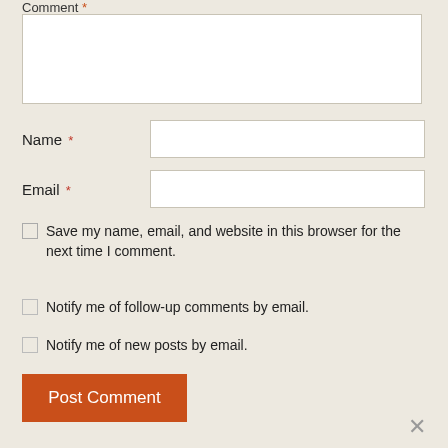Comment *
Name *
Email *
Save my name, email, and website in this browser for the next time I comment.
Notify me of follow-up comments by email.
Notify me of new posts by email.
Post Comment